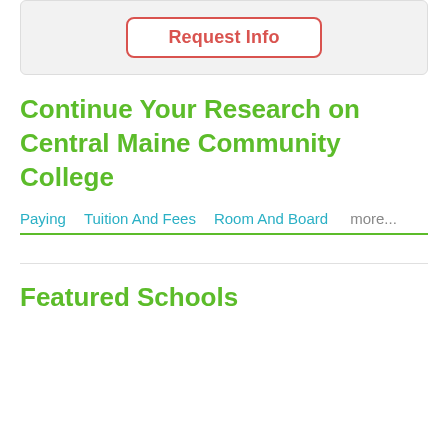[Figure (other): Gray box with a red-bordered 'Request Info' button centered inside]
Continue Your Research on Central Maine Community College
Paying   Tuition And Fees   Room And Board   more...
Featured Schools